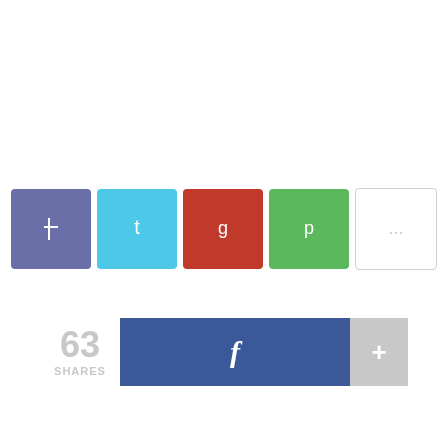[Figure (infographic): Row of five social media share icon buttons: Facebook (purple), Twitter (cyan), Google+/red, Pinterest/green, and a white more button with icon glyphs. Below is a share bar showing '63 SHARES' count on the left, a wide Facebook blue button with 'f' in center, and a gray '+' button on the right.]